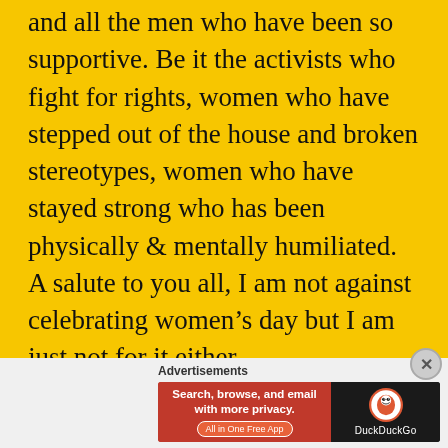and all the men who have been so supportive. Be it the activists who fight for rights, women who have stepped out of the house and broken stereotypes, women who have stayed strong who has been physically & mentally humiliated. A salute to you all, I am not against celebrating women's day but I am just not for it either.

The day when we don't have to fight for any rights either for women or men, the day when women & men are equally treated
[Figure (infographic): Advertisement banner for DuckDuckGo app with text 'Search, browse, and email with more privacy. All in One Free App' on red background and DuckDuckGo logo on dark background]